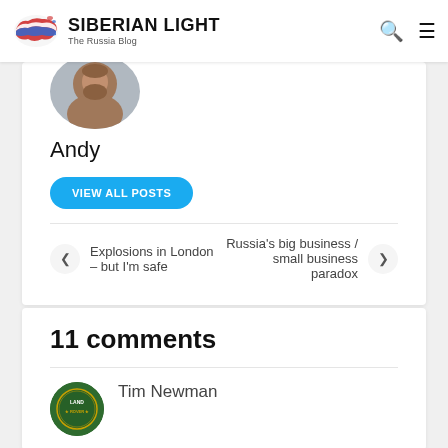SIBERIAN LIGHT The Russia Blog
[Figure (photo): Circular profile photo of Andy, a bearded man]
Andy
VIEW ALL POSTS
Explosions in London – but I'm safe
Russia's big business / small business paradox
11 comments
Tim Newman